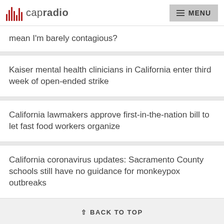capradio  MENU
mean I'm barely contagious?
Kaiser mental health clinicians in California enter third week of open-ended strike
California lawmakers approve first-in-the-nation bill to let fast food workers organize
California coronavirus updates: Sacramento County schools still have no guidance for monkeypox outbreaks
BACK TO TOP